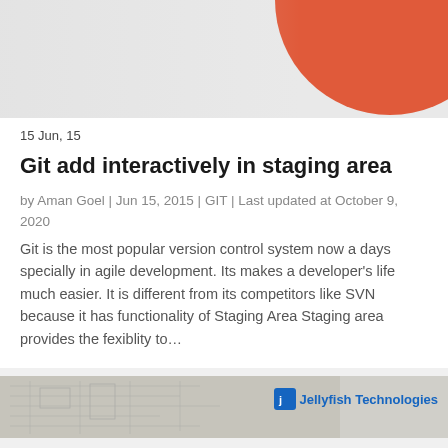[Figure (illustration): Banner image with light gray background and a large red/orange curved shape in the upper right corner]
15 Jun, 15
Git add interactively in staging area
by Aman Goel | Jun 15, 2015 | GIT | Last updated at October 9, 2020
Git is the most popular version control system now a days specially in agile development. Its makes a developer's life much easier. It is different from its competitors like SVN because it has functionality of Staging Area Staging area provides the fexiblity to…
[Figure (photo): Bottom banner showing blueprint/technical drawing with a Jellyfish Technologies logo in the top right corner]